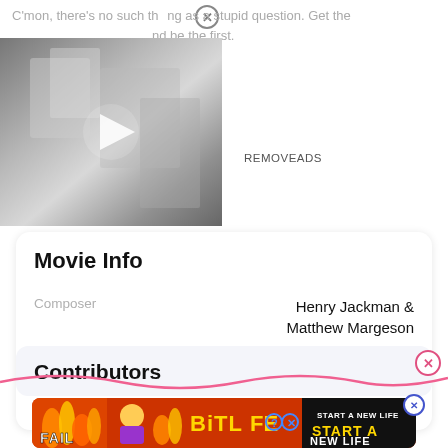C'mon, there's no such thing as a stupid question. Get the app and be the first.
[Figure (screenshot): Black and white video thumbnail with a play button in the center]
REMOVEADS
Movie Info
| Label | Value |
| --- | --- |
| Composer | Henry Jackman & Matthew Margeson |
| Music Supervisors | - |
| External Links | TMDb,  iMDB |
Contributors
[Figure (screenshot): BitLife mobile game advertisement banner: FAIL START A NEW LIFE]